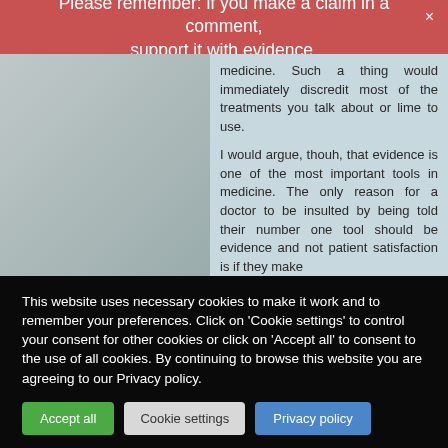Please remember: if you make a claim in a comment, support it with evidence.
medicine. Such a thing would immediately discredit most of the treatments you talk about or lime to use.

I would argue, thouh, that evidence is one of the most important tools in medicine. The only reason for a doctor to be insulted by being told their number one tool should be evidence and not patient satisfaction is if they make
This website uses necessary cookies to make it work and to remember your preferences. Click on 'Cookie settings' to control your consent for other cookies or click on 'Accept all' to consent to the use of all cookies. By continuing to browse this website you are agreeing to our Privacy policy.